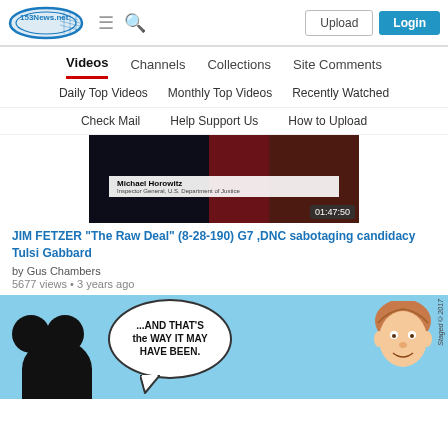[Figure (screenshot): 153News.net website header with logo, hamburger menu, search icon, Upload button, and Login button]
Videos | Channels | Collections | Site Comments
Daily Top Videos | Monthly Top Videos | Recently Watched
Check Mail | Help Support Us | How to Upload
[Figure (screenshot): Video thumbnail showing Michael Horowitz, Inspector General U.S. Department of Justice, duration 01:47:50]
JIM FETZER "The Raw Deal" (8-28-190) G7 ,DNC sabotaging candidacy Tulsi Gabbard
by Gus Chambers
5677 views • 3 years ago
[Figure (illustration): Cartoon illustration with Mickey Mouse ears silhouette on left, speech bubble saying '...AND THAT'S the WAY IT MAY HAVE BEEN.' and a caricature of a person on the right, on light blue background]